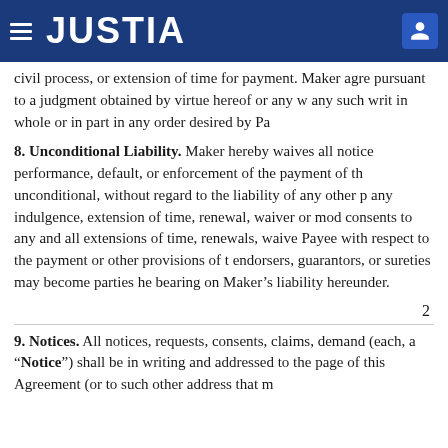JUSTIA
civil process, or extension of time for payment. Maker agre pursuant to a judgment obtained by virtue hereof or any w any such writ in whole or in part in any order desired by Pa
8. Unconditional Liability. Maker hereby waives all notice performance, default, or enforcement of the payment of th unconditional, without regard to the liability of any other p any indulgence, extension of time, renewal, waiver or mod consents to any and all extensions of time, renewals, waive Payee with respect to the payment or other provisions of t endorsers, guarantors, or sureties may become parties he bearing on Maker’s liability hereunder.
2
9. Notices. All notices, requests, consents, claims, demand (each, a “Notice”) shall be in writing and addressed to the page of this Agreement (or to such other address that m